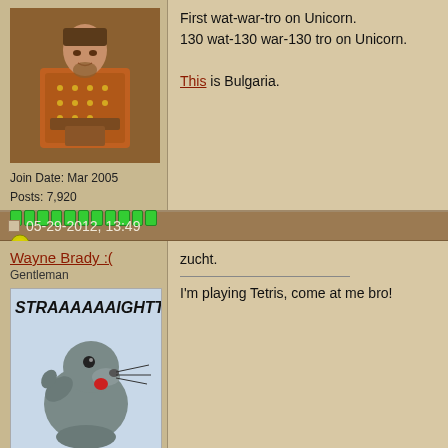[Figure (photo): Medieval painting of a seated figure in ornate robes, used as forum avatar]
Join Date: Mar 2005
Posts: 7,920
First wat-war-tro on Unicorn.
130 wat-130 war-130 tro on Unicorn.

This is Bulgaria.
05-29-2012, 13:49
Wayne Brady :(
Gentleman
[Figure (illustration): Meme image of a seal with text STRAAAAAAIGHTTT]
Join Date: Dec 2010
Posts: 6,780
zucht.

I'm playing Tetris, come at me bro!